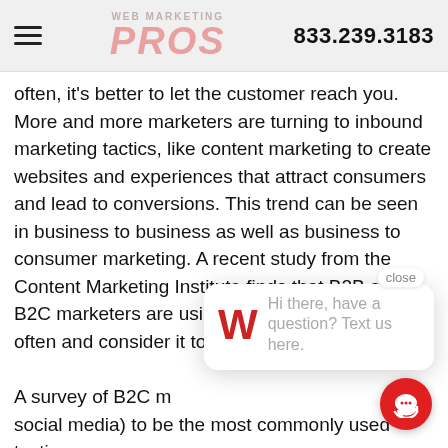WEB MARKETING PROS | 833.239.3183
often, it's better to let the customer reach you. More and more marketers are turning to inbound marketing tactics, like content marketing to create websites and experiences that attract consumers and lead to conversions. This trend can be seen in business to business as well as business to consumer marketing. A recent study from the Content Marketing Institute finds that B2B and B2C marketers are using content marketing more often and consider it to be one of their most
A survey of B2C m social media) to be the most commonly used tactics. Content Marketing Institute report noted that nine out of ten (93%) North American business-to-consumer marketers use social media content marketing. The nearest runners up